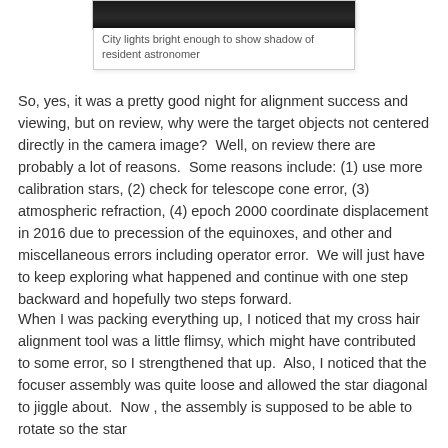[Figure (photo): Dark night sky photograph showing city lights bright enough to cast a shadow of a resident astronomer]
City lights bright enough to show shadow of resident astronomer
So, yes, it was a pretty good night for alignment success and viewing, but on review, why were the target objects not centered directly in the camera image?  Well, on review there are probably a lot of reasons.  Some reasons include: (1) use more calibration stars, (2) check for telescope cone error, (3) atmospheric refraction, (4) epoch 2000 coordinate displacement in 2016 due to precession of the equinoxes, and other and miscellaneous errors including operator error.  We will just have to keep exploring what happened and continue with one step backward and hopefully two steps forward.
When I was packing everything up, I noticed that my cross hair alignment tool was a little flimsy, which might have contributed to some error, so I strengthened that up.  Also, I noticed that the focuser assembly was quite loose and allowed the star diagonal to jiggle about.  Now , the assembly is supposed to be able to rotate so the star